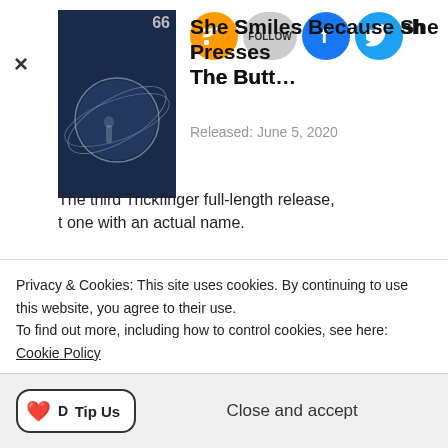[Figure (screenshot): Screenshot of a music blog/website showing two album entries with social sharing icons (RSS, Follow, Facebook, Twitter), a cookie consent banner, and a Ko-fi Tip Us bar at the bottom.]
She Smiles Because She Presses The Butt…
Released: June 5, 2020
The third Trickfinger full-length release, t one with an actual name.
Look Down, See Us
Released: March 29, 2020
The first Trickfinger EP and the first release that was not a single song or an : post-2015.
Privacy & Cookies: This site uses cookies. By continuing to use this website, you agree to their use.
To find out more, including how to control cookies, see here: Cookie Policy
Tip Us   Close and accept